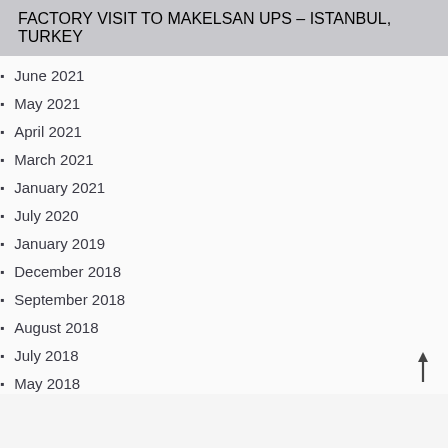FACTORY VISIT TO MAKELSAN UPS – ISTANBUL, TURKEY
June 2021
May 2021
April 2021
March 2021
January 2021
July 2020
January 2019
December 2018
September 2018
August 2018
July 2018
May 2018